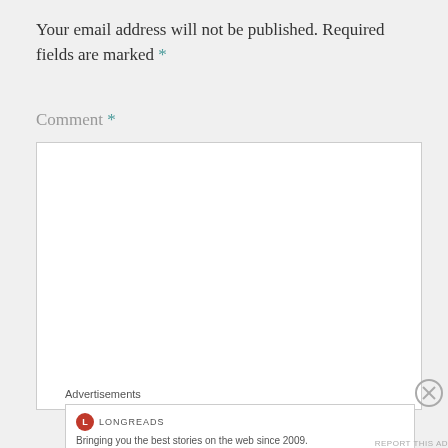Your email address will not be published. Required fields are marked *
Comment *
[Figure (other): Empty comment text area input box with white background and gray border]
[Figure (other): Close/dismiss button (circled X icon)]
Advertisements
[Figure (other): Advertisement card: Longreads logo (red circle with L) and text 'Bringing you the best stories on the web since 2009.']
REPORT THIS AD